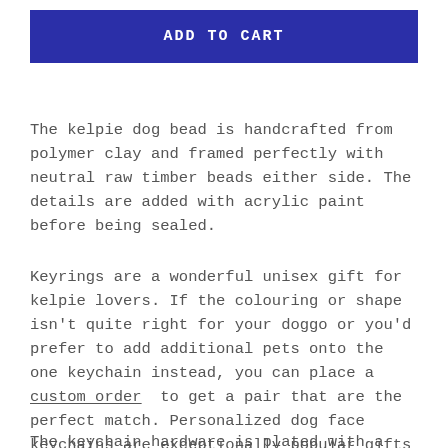ADD TO CART
The kelpie dog bead is handcrafted from polymer clay and framed perfectly with neutral raw timber beads either side. The details are added with acrylic paint before being sealed.
Keyrings are a wonderful unisex gift for kelpie lovers. If the colouring or shape isn’t quite right for your doggo or you’d prefer to add additional pets onto the one keychain instead, you can place a custom order to get a pair that are the perfect match. Personalized dog face keychains are exceptionally popular gifts for dog lovers.
The keychain hardware is plated with a bright silver